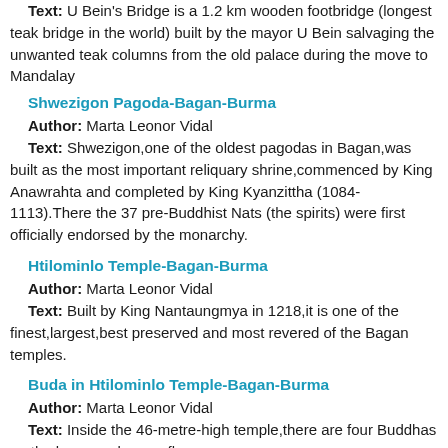Text: U Bein's Bridge is a 1.2 km wooden footbridge (longest teak bridge in the world) built by the mayor U Bein salvaging the unwanted teak columns from the old palace during the move to Mandalay
Shwezigon Pagoda-Bagan-Burma
Author: Marta Leonor Vidal
Text: Shwezigon,one of the oldest pagodas in Bagan,was built as the most important reliquary shrine,commenced by King Anawrahta and completed by King Kyanzittha (1084-1113).There the 37 pre-Buddhist Nats (the spirits) were first officially endorsed by the monarchy.
Htilominlo Temple-Bagan-Burma
Author: Marta Leonor Vidal
Text: Built by King Nantaungmya in 1218,it is one of the finest,largest,best preserved and most revered of the Bagan temples.
Buda in Htilominlo Temple-Bagan-Burma
Author: Marta Leonor Vidal
Text: Inside the 46-metre-high temple,there are four Buddhas on the lower and upper floors.